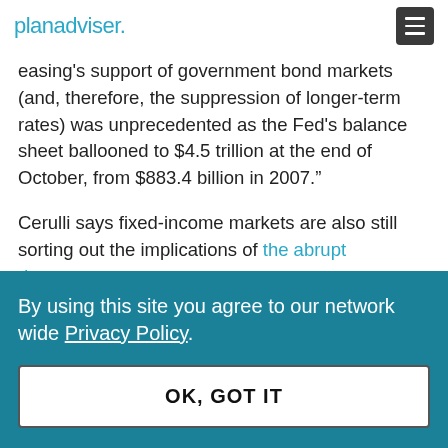planadviser.
easing's support of government bond markets (and, therefore, the suppression of longer-term rates) was unprecedented as the Fed's balance sheet ballooned to $4.5 trillion at the end of October, from $883.4 billion in 2007."
Cerulli says fixed-income markets are also still sorting out the implications of the abrupt departure
By using this site you agree to our network wide Privacy Policy.
OK, GOT IT